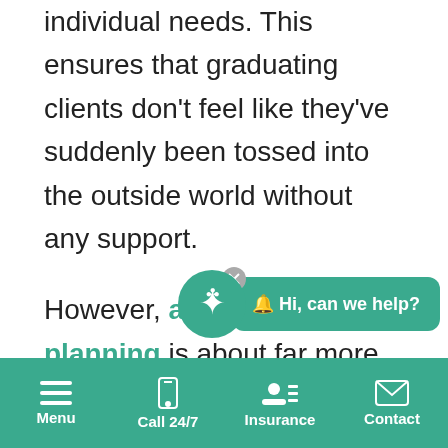individual needs. This ensures that graduating clients don't feel like they've suddenly been tossed into the outside world without any support.

However, aftercare planning is about far more than just helping graduates make a smooth transition. Most people who stay sober continue to make use of aftercare services years after graduating from a formal treatment program. In fact, continued use of aftercare services is associated with a far lower risk of relapse over
[Figure (other): Chat widget with teal background showing '🔔 Hi, can we help?' with a close button and a teal logo icon]
Menu | Call 24/7 | Insurance | Contact